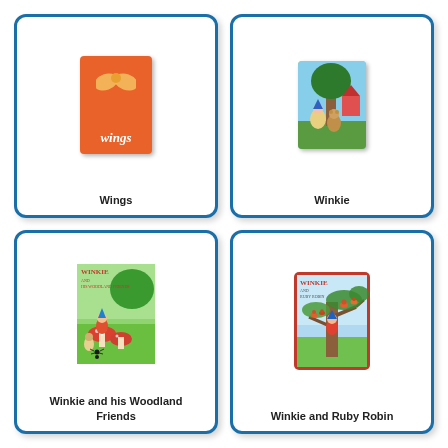[Figure (illustration): Book cover of 'Wings' - orange/red cover with wing shape illustration and italic title text 'Wings']
Wings
[Figure (illustration): Book cover of 'Winkie' - colorful children's book cover showing cartoon animal characters in a woodland scene]
Winkie
[Figure (illustration): Book cover of 'Winkie and his Woodland Friends' - illustrated cover with gnomes, elves and woodland creatures on mushrooms in a forest scene]
Winkie and his Woodland Friends
[Figure (illustration): Book cover of 'Winkie and Ruby Robin' - illustrated cover with birds on tree branch and a child character, red border]
Winkie and Ruby Robin